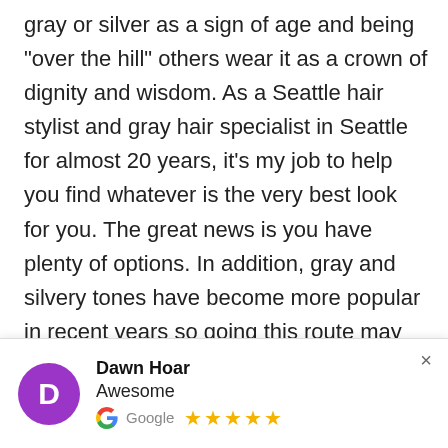gray or silver as a sign of age and being "over the hill" others wear it as a crown of dignity and wisdom. As a Seattle hair stylist and gray hair specialist in Seattle for almost 20 years, it's my job to help you find whatever is the very best look for you. The great news is you have plenty of options. In addition, gray and silvery tones have become more popular in recent years so going this route may even bring you more up to date with the fashions and times! The Huffington post recently put out a fun article on the subject that I found really encouraging (http://www.huffingtonpost.ca/2013/07/25/celebrities-grey-
Dawn Hoar
Awesome
Google ★★★★★